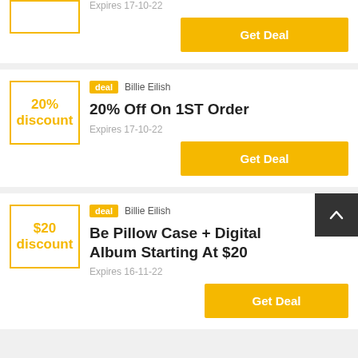Expires 17-10-22
Get Deal
deal  Billie Eilish
20% Off On 1ST Order
Expires 17-10-22
Get Deal
deal  Billie Eilish
Be Pillow Case + Digital Album Starting At $20
Expires 16-11-22
Get Deal